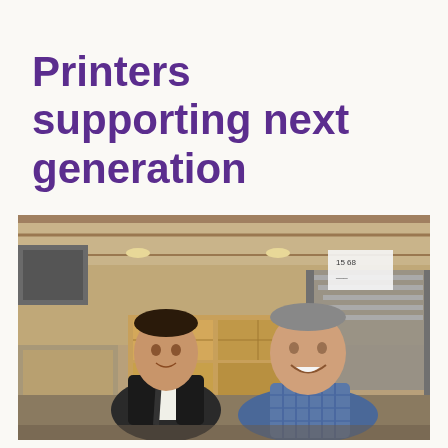Printers supporting next generation
[Figure (photo): Two men standing in an industrial warehouse/printing facility. On the left is a young man wearing a black jacket over a white t-shirt with a backpack. On the right is a middle-aged man in a blue checkered shirt, smiling. Behind them are stacked cardboard boxes and warehouse shelving and stairs.]